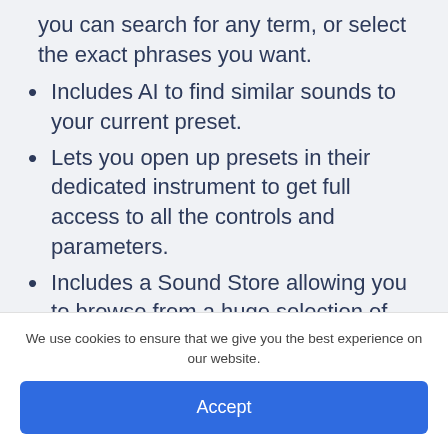you can search for any term, or select the exact phrases you want.
Includes AI to find similar sounds to your current preset.
Lets you open up presets in their dedicated instrument to get full access to all the controls and parameters.
Includes a Sound Store allowing you to browse from a huge selection of
We use cookies to ensure that we give you the best experience on our website.
Accept